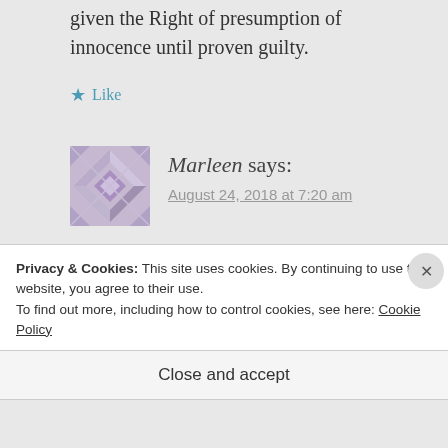given the Right of presumption of innocence until proven guilty.
★ Like
[Figure (illustration): Purple/mauve geometric quilt-pattern avatar icon]
Marleen says:
August 24, 2018 at 7:20 am
I guess this is supposed to be funny. A set of headlines —
Privacy & Cookies: This site uses cookies. By continuing to use this website, you agree to their use.
To find out more, including how to control cookies, see here: Cookie Policy
Close and accept